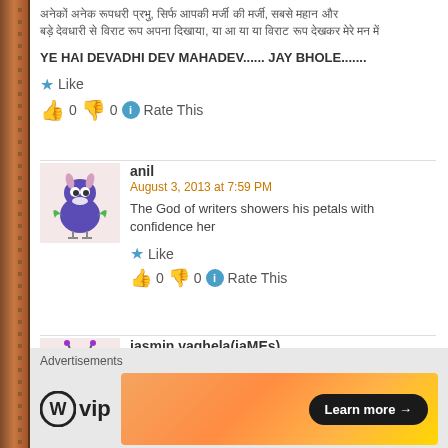[Hindi text - continuation of previous comment about Mahadev]
YE HAI DEVADHI DEV MAHADEV...... JAY BHOLE.......
Like
👍 0 👎 0 ℹ Rate This
anil
August 3, 2013 at 7:59 PM
The God of writers showers his petals with confidence her
Like
👍 0 👎 0 ℹ Rate This
jasmin vaghela(jaMEs)
August 7, 2013 at 8:56 PM
once again, hats off to u dearest iv sir, for ur article of
Advertisements
[Figure (logo): WordPress VIP logo with WP circle icon and 'vip' text]
[Figure (infographic): Advertisement banner with orange gradient and Learn more button]